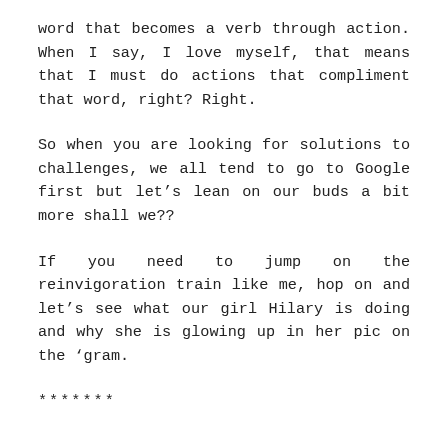word that becomes a verb through action. When I say, I love myself, that means that I must do actions that compliment that word, right? Right.
So when you are looking for solutions to challenges, we all tend to go to Google first but let’s lean on our buds a bit more shall we??
If you need to jump on the reinvigoration train like me, hop on and let’s see what our girl Hilary is doing and why she is glowing up in her pic on the ‘gram.
*******